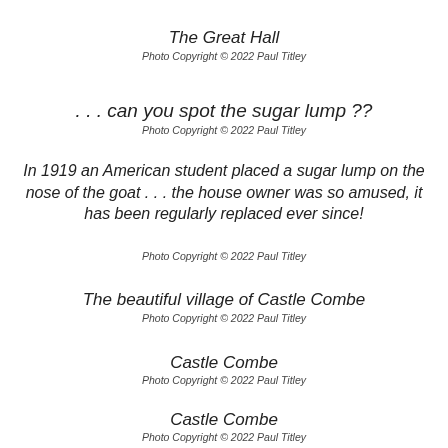The Great Hall
Photo Copyright © 2022 Paul Titley
. . . can you spot the sugar lump ??
Photo Copyright © 2022 Paul Titley
In 1919 an American student placed a sugar lump on the nose of the goat . . . the house owner was so amused, it has been regularly replaced ever since!
Photo Copyright © 2022 Paul Titley
The beautiful village of Castle Combe
Photo Copyright © 2022 Paul Titley
Castle Combe
Photo Copyright © 2022 Paul Titley
Castle Combe
Photo Copyright © 2022 Paul Titley